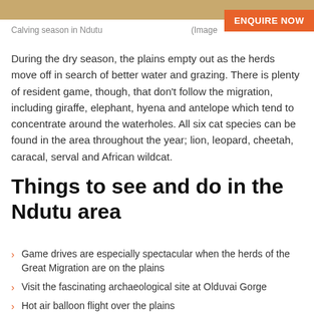Calving season in Ndutu   (Image
During the dry season, the plains empty out as the herds move off in search of better water and grazing. There is plenty of resident game, though, that don't follow the migration, including giraffe, elephant, hyena and antelope which tend to concentrate around the waterholes. All six cat species can be found in the area throughout the year; lion, leopard, cheetah, caracal, serval and African wildcat.
Things to see and do in the Ndutu area
Game drives are especially spectacular when the herds of the Great Migration are on the plains
Visit the fascinating archaeological site at Olduvai Gorge
Hot air balloon flight over the plains
Walk with Maasai guides and learn about the local...